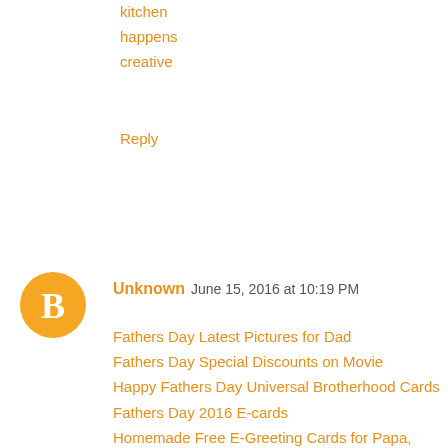kitchen
happens
creative
Reply
Unknown   June 15, 2016 at 10:19 PM
Fathers Day Latest Pictures for Dad
Fathers Day Special Discounts on Movie
Happy Fathers Day Universal Brotherhood Cards
Fathers Day 2016 E-cards
Homemade Free E-Greeting Cards for Papa, Fathers
Father's day gift
Fathers Day Lunch Recipe
fathers Day Special Meal Plan 2016
Fathers Day E-cards Online Personalized Cards
Fathers Day Cards
fathers Day Cards 2016
images for dad in fathers day